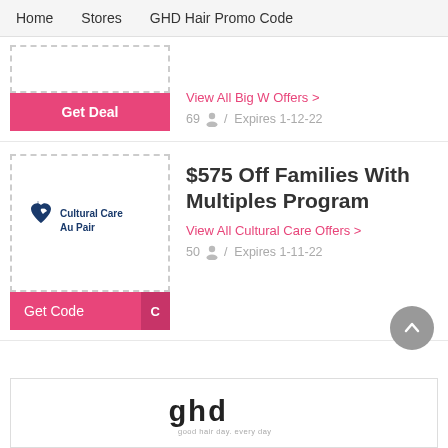Home  Stores  GHD Hair Promo Code
View All Big W Offers >
69 / Expires 1-12-22
[Figure (other): Pink 'Get Deal' button on dashed-border coupon box]
[Figure (logo): Cultural Care Au Pair logo with heart icon]
$575 Off Families With Multiples Program
View All Cultural Care Offers >
50 / Expires 1-11-22
[Figure (other): Pink 'Get Code' button with code tab]
[Figure (logo): GHD 'good hair day. every day' logo in footer]